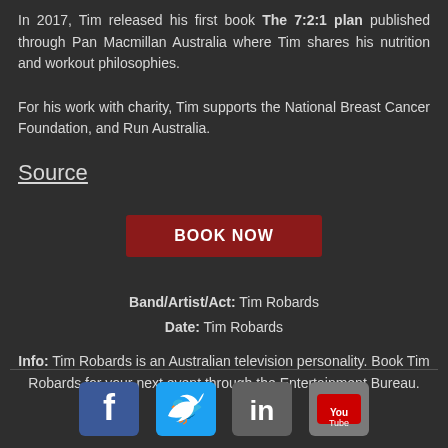In 2017, Tim released his first book The 7:2:1 plan published through Pan Macmillan Australia where Tim shares his nutrition and workout philosophies.
For his work with charity, Tim supports the National Breast Cancer Foundation, and Run Australia.
Source
BOOK NOW
Band/Artist/Act: Tim Robards
Date: Tim Robards
Info: Tim Robards is an Australian television personality. Book Tim Robards for your next event through the Entertainment Bureau.
[Figure (illustration): Social media icons: Facebook, Twitter, LinkedIn, YouTube]